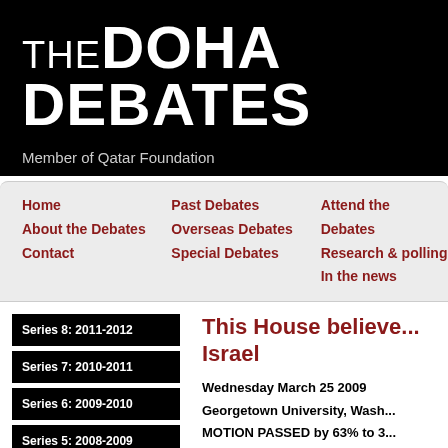THE DOHA DEBATES
Member of Qatar Foundation
Home
About the Debates
Contact
Past Debates
Overseas Debates
Special Debates
Attend the Debates
Research & polling
In the news
Series 8: 2011-2012
Series 7: 2010-2011
Series 6: 2009-2010
Series 5: 2008-2009
Series 4: 2007-2008
Series 3: 2006-2007
This House believes... Israel
Wednesday March 25 2009
Georgetown University, Wash...
MOTION PASSED by 63% to 3...
Opinion poll